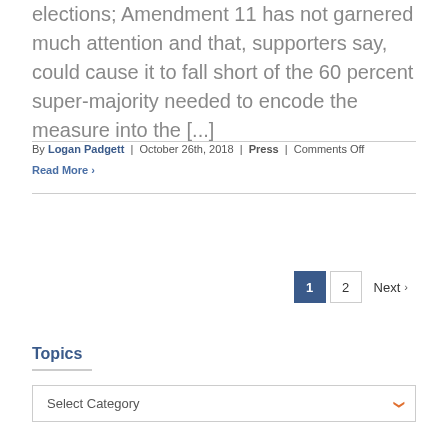elections; Amendment 11 has not garnered much attention and that, supporters say, could cause it to fall short of the 60 percent super-majority needed to encode the measure into the [...]
By Logan Padgett | October 26th, 2018 | Press | Comments Off
Read More
1 2 Next
Topics
Select Category